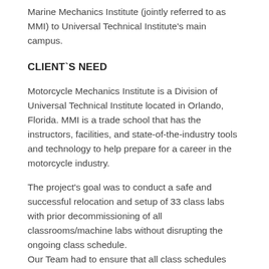Marine Mechanics Institute (jointly referred to as MMI) to Universal Technical Institute's main campus.
CLIENT`S NEED
Motorcycle Mechanics Institute is a Division of Universal Technical Institute located in Orlando, Florida. MMI is a trade school that has the instructors, facilities, and state-of-the-industry tools and technology to help prepare for a career in the motorcycle industry.
The project's goal was to conduct a safe and successful relocation and setup of 33 class labs with prior decommissioning of all classrooms/machine labs without disrupting the ongoing class schedule.
Our Team had to ensure that all class schedules were adhered to and that all classrooms were